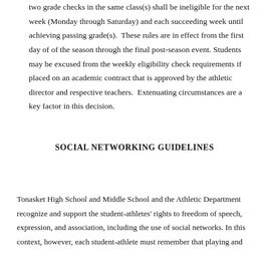two grade checks in the same class(s) shall be ineligible for the next week (Monday through Saturday) and each succeeding week until achieving passing grade(s).  These rules are in effect from the first day of of the season through the final post-season event. Students may be excused from the weekly eligibility check requirements if placed on an academic contract that is approved by the athletic director and respective teachers.  Extenuating circumstances are a key factor in this decision.
SOCIAL NETWORKING GUIDELINES
Tonasket High School and Middle School and the Athletic Department recognize and support the student-athletes' rights to freedom of speech, expression, and association, including the use of social networks. In this context, however, each student-athlete must remember that playing and